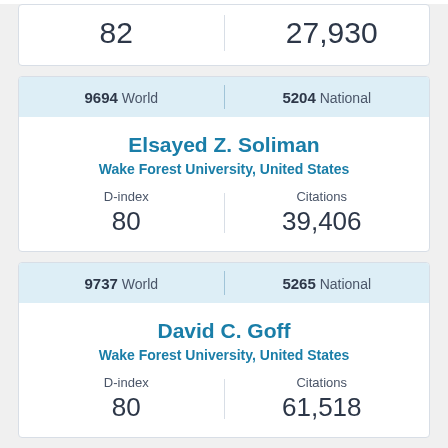| D-index | Citations |
| --- | --- |
| 82 | 27,930 |
| World Rank | National Rank |
| --- | --- |
| 9694 World | 5204 National |
Elsayed Z. Soliman
Wake Forest University, United States
| D-index | Citations |
| --- | --- |
| 80 | 39,406 |
| World Rank | National Rank |
| --- | --- |
| 9737 World | 5265 National |
David C. Goff
Wake Forest University, United States
| D-index | Citations |
| --- | --- |
| 80 | 61,518 |